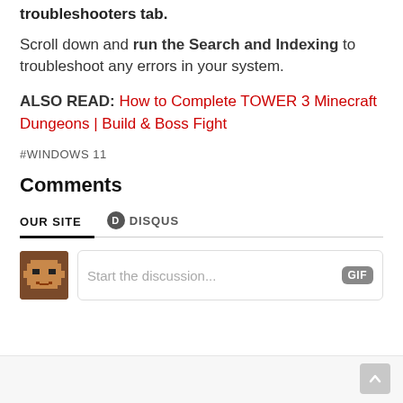troubleshooters tab.
Scroll down and run the Search and Indexing to troubleshoot any errors in your system.
ALSO READ: How to Complete TOWER 3 Minecraft Dungeons | Build & Boss Fight
#WINDOWS 11
Comments
OUR SITE   DISQUS
[Figure (screenshot): Comment input area with avatar icon placeholder and Start the discussion... input field with GIF button]